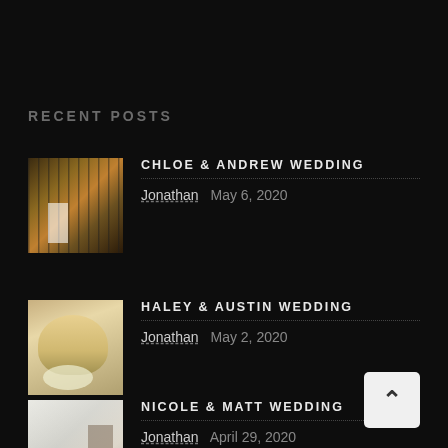RECENT POSTS
CHLOE & ANDREW WEDDING — Jonathan  May 6, 2020
HALEY & AUSTIN WEDDING — Jonathan  May 2, 2020
NICOLE & MATT WEDDING — Jonathan  April 29, 2020